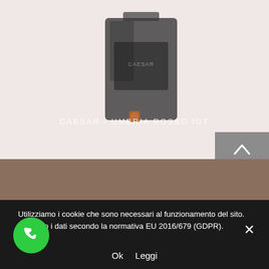[Figure (photo): Wine product in a dark bag-in-box container shown against a pinkish/cream background. The bag/box appears dark charcoal colored with a spout visible.]
CAESAR - UMBRIA ROSSO IGT
[Figure (photo): Bottom portion shows the dark blue/black box of the wine product against a brown/taupe background section.]
Utilizziamo i cookie che sono necessari al funzionamento del sito. Tratiamo i dati secondo la normativa EU 2016/679 (GDPR).
Ok   Leggi